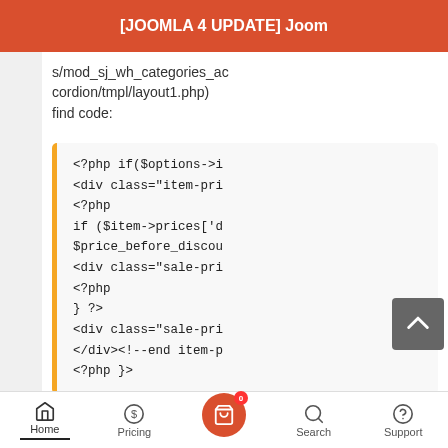[JOOMLA 4 UPDATE] Joom
s/mod_sj_wh_categories_accordion/tmpl/layout1.php)
find code:
[Figure (screenshot): Code block showing PHP and HTML code with an orange left border on a light grey background]
Home  Pricing  [cart:0]  Search  Support